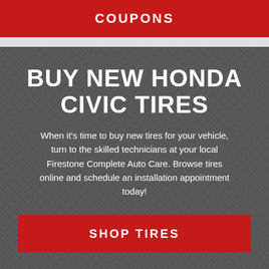COUPONS
BUY NEW HONDA CIVIC TIRES
When it's time to buy new tires for your vehicle, turn to the skilled technicians at your local Firestone Complete Auto Care. Browse tires online and schedule an installation appointment today!
SHOP TIRES